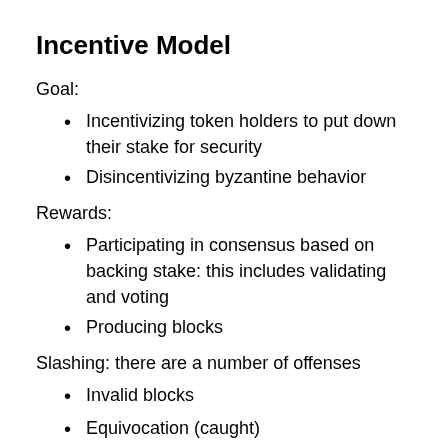Incentive Model
Goal:
Incentivizing token holders to put down their stake for security
Disincentivizing byzantine behavior
Rewards:
Participating in consensus based on backing stake: this includes validating and voting
Producing blocks
Slashing: there are a number of offenses
Invalid blocks
Equivocation (caught)